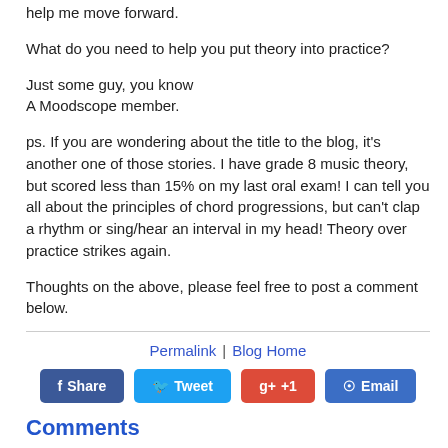help me move forward.
What do you need to help you put theory into practice?
Just some guy, you know
A Moodscope member.
ps. If you are wondering about the title to the blog, it’s another one of those stories. I have grade 8 music theory, but scored less than 15% on my last oral exam! I can tell you all about the principles of chord progressions, but can’t clap a rhythm or sing/hear an interval in my head! Theory over practice strikes again.
Thoughts on the above, please feel free to post a comment below.
Permalink  |  Blog Home
Share  Tweet  g+ +1  Email
Comments